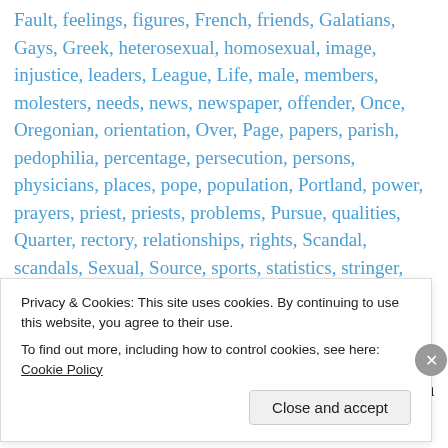Fault, feelings, figures, French, friends, Galatians, Gays, Greek, heterosexual, homosexual, image, injustice, leaders, League, Life, male, members, molesters, needs, news, newspaper, offender, Once, Oregonian, orientation, Over, Page, papers, parish, pedophilia, percentage, persecution, persons, physicians, places, pope, population, Portland, power, prayers, priest, priests, problems, Pursue, qualities, Quarter, rectory, relationships, rights, Scandal, scandals, Sexual, Source, sports, statistics, stringer, students, Sure, systems, Teachers, times, trueslant, turmoil, Vatican, youth
Rate This
Image via Wikipedia The scandal of the Church
Privacy & Cookies: This site uses cookies. By continuing to use this website, you agree to their use. To find out more, including how to control cookies, see here: Cookie Policy